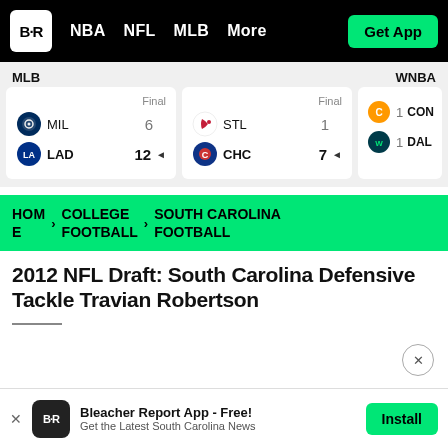B·R  NBA  NFL  MLB  More  Get App
MLB
WNBA
| Team | Score |
| --- | --- |
| MIL | 6 |
| LAD | 12 ◄ |
| Team | Score |
| --- | --- |
| STL | 1 |
| CHC | 7 ◄ |
| Team | Score |
| --- | --- |
| CON | 1 |
| DAL | 1 |
HOME > COLLEGE FOOTBALL > SOUTH CAROLINA FOOTBALL
2012 NFL Draft: South Carolina Defensive Tackle Travian Robertson
Bleacher Report App - Free!
Get the Latest South Carolina News